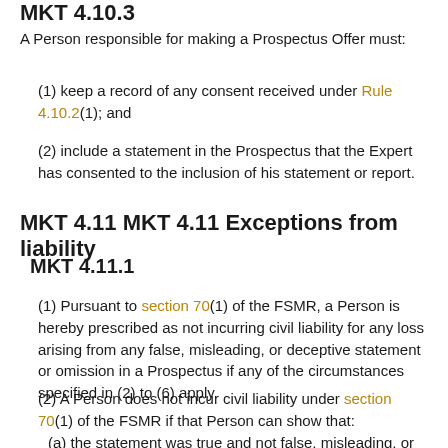MKT 4.10.3
A Person responsible for making a Prospectus Offer must:
(1) keep a record of any consent received under Rule 4.10.2(1); and
(2) include a statement in the Prospectus that the Expert has consented to the inclusion of his statement or report.
MKT 4.11 MKT 4.11 Exceptions from liability
MKT 4.11.1
(1) Pursuant to section 70(1) of the FSMR, a Person is hereby prescribed as not incurring civil liability for any loss arising from any false, misleading, or deceptive statement or omission in a Prospectus if any of the circumstances specified in (2) to (6) apply.
(2) A Person does not incur civil liability under section 70(1) of the FSMR if that Person can show that:
(a) the statement was true and not false, misleading, or